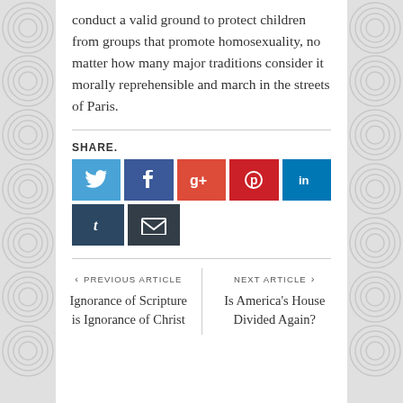conduct a valid ground to protect children from groups that promote homosexuality, no matter how many major traditions consider it morally reprehensible and march in the streets of Paris.
[Figure (infographic): Social share buttons: Twitter (blue), Facebook (dark blue), Google+ (red-orange), Pinterest (red), LinkedIn (dark blue), Tumblr (dark navy), Email (dark gray)]
PREVIOUS ARTICLE
Ignorance of Scripture is Ignorance of Christ
NEXT ARTICLE
Is America's House Divided Again?